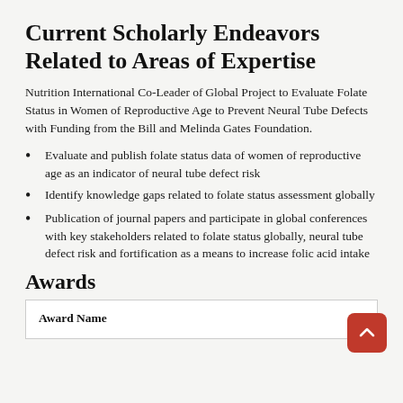Current Scholarly Endeavors Related to Areas of Expertise
Nutrition International Co-Leader of Global Project to Evaluate Folate Status in Women of Reproductive Age to Prevent Neural Tube Defects with Funding from the Bill and Melinda Gates Foundation.
Evaluate and publish folate status data of women of reproductive age as an indicator of neural tube defect risk
Identify knowledge gaps related to folate status assessment globally
Publication of journal papers and participate in global conferences with key stakeholders related to folate status globally, neural tube defect risk and fortification as a means to increase folic acid intake
Awards
| Award Name |
| --- |